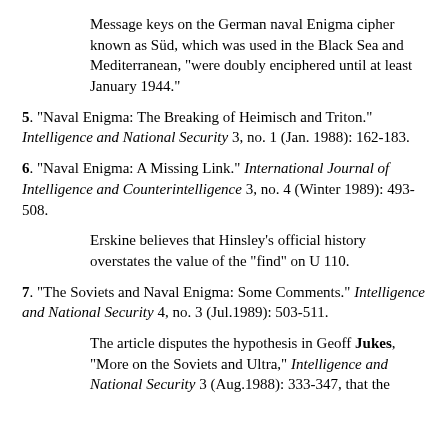Message keys on the German naval Enigma cipher known as Süd, which was used in the Black Sea and Mediterranean, "were doubly enciphered until at least January 1944."
5. "Naval Enigma: The Breaking of Heimisch and Triton." Intelligence and National Security 3, no. 1 (Jan. 1988): 162-183.
6. "Naval Enigma: A Missing Link." International Journal of Intelligence and Counterintelligence 3, no. 4 (Winter 1989): 493-508.
Erskine believes that Hinsley's official history overstates the value of the "find" on U 110.
7. "The Soviets and Naval Enigma: Some Comments." Intelligence and National Security 4, no. 3 (Jul.1989): 503-511.
The article disputes the hypothesis in Geoff Jukes, "More on the Soviets and Ultra," Intelligence and National Security 3 (Aug.1988): 333-347, that the